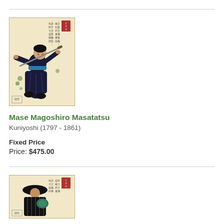[Figure (illustration): Ukiyo-e woodblock print of a samurai warrior (Mase Magoshiro Masatatsu) in dynamic fighting pose with blue/black garments, with Japanese calligraphy text panels]
Mase Magoshiro Masatatsu
Kuniyoshi (1797 - 1861)
Fixed Price
Price: $475.00
[Figure (illustration): Ukiyo-e woodblock print of a figure (second listing) in dark garments with hat, with Japanese calligraphy text panels]